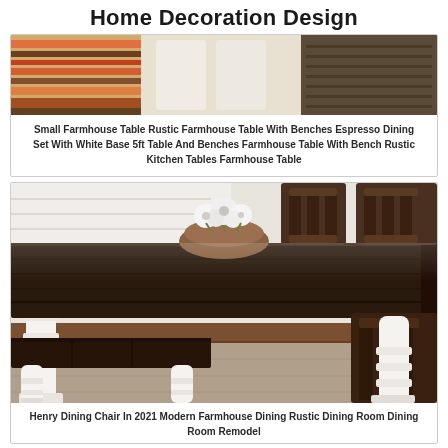Home Decoration Design
[Figure (photo): Partial view of farmhouse dining table with bench, colorful rug visible on the left, dark wood tabletop and white bench legs on the right]
Small Farmhouse Table Rustic Farmhouse Table With Benches Espresso Dining Set With White Base 5ft Table And Benches Farmhouse Table With Bench Rustic Kitchen Tables Farmhouse Table
[Figure (photo): Farmhouse dining room with dark espresso wood table top, white painted legs and base, white bench on the left side, dark wood chairs on the right, bowl of cotton flowers as centerpiece, white brick wall background]
Henry Dining Chair In 2021 Modern Farmhouse Dining Rustic Dining Room Dining Room Remodel